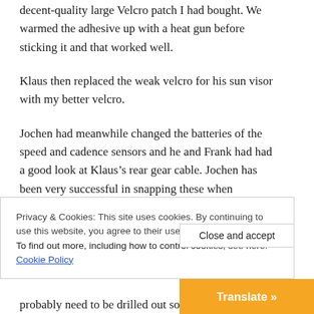decent-quality large Velcro patch I had bought. We warmed the adhesive up with a heat gun before sticking it and that worked well.
Klaus then replaced the weak velcro for his sun visor with my better velcro.
Jochen had meanwhile changed the batteries of the speed and cadence sensors and he and Frank had had a good look at Klaus’s rear gear cable. Jochen has been very successful in snapping these when underway and it’s a mega-fiddly job to fix them by the roadside. Jochen’s prognosis was that the gear cable was rather
Privacy & Cookies: This site uses cookies. By continuing to use this website, you agree to their use.
To find out more, including how to control cookies, see here: Cookie Policy
Close and accept
Translate »
probably need to be drilled out so we stopped